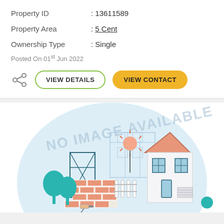Property ID : 13611589
Property Area : 5 Cent
Ownership Type : Single
Posted On 01st Jun 2022
[Figure (illustration): Real estate property listing illustration showing a house under construction with trees, bricks, scaffolding tower, fence, and a sun. Text watermark reads 'NO IMAGE AVAILABLE'.]